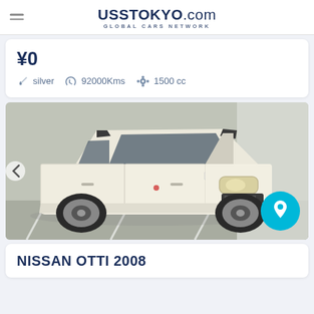UssTokyo.com - Global Cars Network
¥0
silver  92000Kms  1500 cc
[Figure (photo): White Nissan Otti 2008 compact car photographed from front-left angle in a parking or auction facility. The vehicle has a boxy shape, white body color, Japanese license plate partially visible showing '54-4'.]
NISSAN OTTI 2008